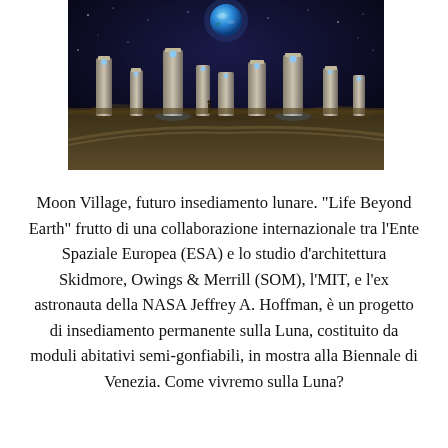[Figure (illustration): Artistic rendering of the Moon Village lunar settlement at night, showing tall monolith-like structures illuminated with blue lights, with Earth visible in the dark sky above and rocky lunar terrain in the foreground.]
Moon Village, futuro insediamento lunare. "Life Beyond Earth" frutto di una collaborazione internazionale tra l'Ente Spaziale Europea (ESA) e lo studio d'architettura Skidmore, Owings & Merrill (SOM), l'MIT, e l'ex astronauta della NASA Jeffrey A. Hoffman, è un progetto di insediamento permanente sulla Luna, costituito da moduli abitativi semi-gonfiabili, in mostra alla Biennale di Venezia. Come vivremo sulla Luna?